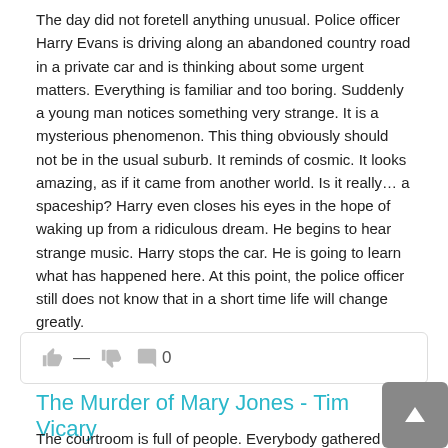The day did not foretell anything unusual. Police officer Harry Evans is driving along an abandoned country road in a private car and is thinking about some urgent matters. Everything is familiar and too boring. Suddenly a young man notices something very strange. It is a mysterious phenomenon. This thing obviously should not be in the usual suburb. It reminds of cosmic. It looks amazing, as if it came from another world. Is it really… a spaceship? Harry even closes his eyes in the hope of waking up from a ridiculous dream. He begins to hear strange music. Harry stops the car. He is going to learn what has happened here. At this point, the police officer still does not know that in a short time life will change greatly.
[Figure (other): Reaction bar with thumbs up icon, dash, thumbs down icon, and comment count showing 0]
The Murder of Mary Jones - Tim Vicary
The courtroom is full of people. Everybody gathered for the sake of today's court case. Two young men Dan Smith and